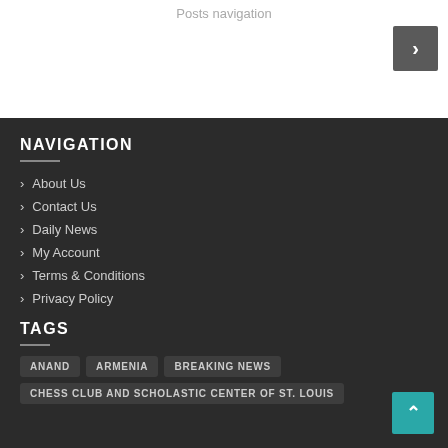Posts navigation
NAVIGATION
About Us
Contact Us
Daily News
My Account
Terms & Conditions
Privacy Policy
TAGS
ANAND
ARMENIA
BREAKING NEWS
CHESS CLUB AND SCHOLASTIC CENTER OF ST. LOUIS